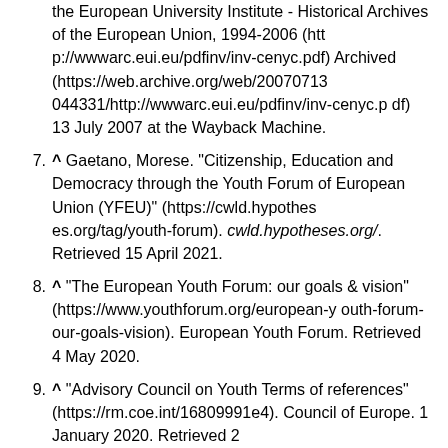the European University Institute - Historical Archives of the European Union, 1994-2006 (http://wwwarc.eui.eu/pdfinv/inv-cenyc.pdf) Archived (https://web.archive.org/web/20070713044331/http://wwwarc.eui.eu/pdfinv/inv-cenyc.pdf) 13 July 2007 at the Wayback Machine.
7. ^ Gaetano, Morese. "Citizenship, Education and Democracy through the Youth Forum of European Union (YFEU)" (https://cwld.hypotheses.org/tag/youth-forum). cwld.hypotheses.org/. Retrieved 15 April 2021.
8. ^ "The European Youth Forum: our goals & vision" (https://www.youthforum.org/european-youth-forum-our-goals-vision). European Youth Forum. Retrieved 4 May 2020.
9. ^ "Advisory Council on Youth Terms of references" (https://rm.coe.int/16809991e4). Council of Europe. 1 January 2020. Retrieved 2